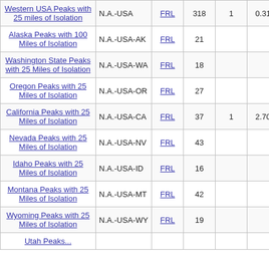| Name | Area | Type | Count | #1 | Score | Mount | Code |
| --- | --- | --- | --- | --- | --- | --- | --- |
| Western USA Peaks with 25 miles of Isolation | N.A.-USA | FRL | 318 | 1 | 0.31 | Mount Pinos | 20 08 |
| Alaska Peaks with 100 Miles of Isolation | N.A.-USA-AK | FRL | 21 |  |  |  |  |
| Washington State Peaks with 25 Miles of Isolation | N.A.-USA-WA | FRL | 18 |  |  |  |  |
| Oregon Peaks with 25 Miles of Isolation | N.A.-USA-OR | FRL | 27 |  |  |  |  |
| California Peaks with 25 Miles of Isolation | N.A.-USA-CA | FRL | 37 | 1 | 2.70 | Mount Pinos | 20 08 |
| Nevada Peaks with 25 Miles of Isolation | N.A.-USA-NV | FRL | 43 |  |  |  |  |
| Idaho Peaks with 25 Miles of Isolation | N.A.-USA-ID | FRL | 16 |  |  |  |  |
| Montana Peaks with 25 Miles of Isolation | N.A.-USA-MT | FRL | 42 |  |  |  |  |
| Wyoming Peaks with 25 Miles of Isolation | N.A.-USA-WY | FRL | 19 |  |  |  |  |
| Utah Peaks... |  |  |  |  |  |  |  |